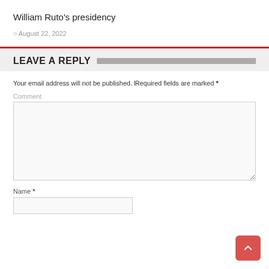William Ruto's presidency
August 22, 2022
LEAVE A REPLY
Your email address will not be published. Required fields are marked *
Comment
Name *